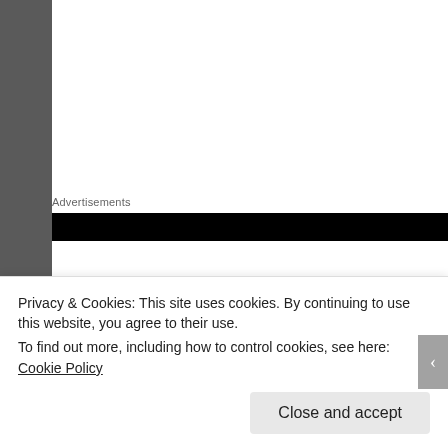Advertisements
I had to laugh when I popped the lid open. The oh so ico me like a pretty girl’s smile. Wrestling it from the pack doing. I recommend you snag a friend or friendly hobo t or her around, because you’ll need them for the next pa
[Figure (photo): Partial photo of what appears to be a device or product, top portion visible]
Privacy & Cookies: This site uses cookies. By continuing to use this website, you agree to their use.
To find out more, including how to control cookies, see here: Cookie Policy
Close and accept